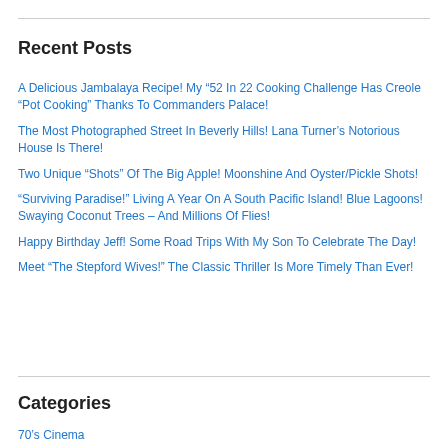Recent Posts
A Delicious Jambalaya Recipe! My “52 In 22 Cooking Challenge Has Creole “Pot Cooking” Thanks To Commanders Palace!
The Most Photographed Street In Beverly Hills! Lana Turner’s Notorious House Is There!
Two Unique “Shots” Of The Big Apple! Moonshine And Oyster/Pickle Shots!
“Surviving Paradise!” Living A Year On A South Pacific Island! Blue Lagoons! Swaying Coconut Trees – And Millions Of Flies!
Happy Birthday Jeff! Some Road Trips With My Son To Celebrate The Day!
Meet “The Stepford Wives!” The Classic Thriller Is More Timely Than Ever!
Categories
70’s Cinema